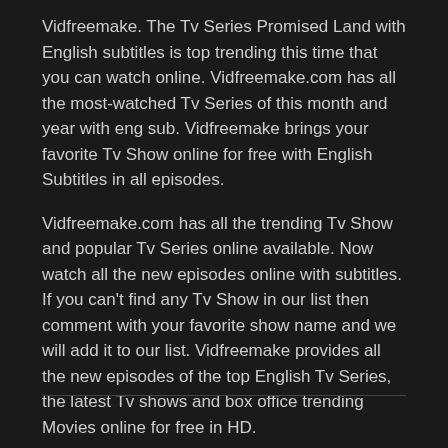Vidfreemake. The Tv Series Promised Land with English subtitles is top trending this time that you can watch online. Vidfreemake.com has all the most-watched Tv Series of this month and year with eng sub. Vidfreemake brings your favorite Tv Show online for free with English Subtitles in all episodes.
Vidfreemake.com has all the trending Tv Show and popular Tv Series online available. Now watch all the new episodes online with subtitles. If you can't find any Tv Show in our list then comment with your favorite show name and we will add it to our list. Vidfreemake provides all the new episodes of the top English Tv Series, the latest Tv shows and box office trending Movies online for free in HD.
Please leave a comment if Promised Land Vidfreemake link or subtitles are not working.